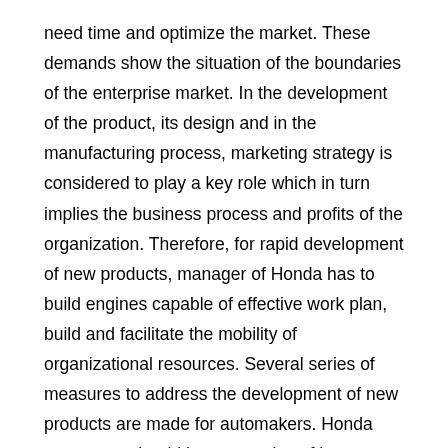need time and optimize the market. These demands show the situation of the boundaries of the enterprise market. In the development of the product, its design and in the manufacturing process, marketing strategy is considered to play a key role which in turn implies the business process and profits of the organization. Therefore, for rapid development of new products, manager of Honda has to build engines capable of effective work plan, build and facilitate the mobility of organizational resources. Several series of measures to address the development of new products are made for automakers. Honda customers should be responsive of how development plans before the prologue of its new product into the automobile market (Journal of Marketing, 1995). New product development and its objectives Development of new products affects many aspects and also has many functions. Management objective and strategy was to identify the product and prices. For the right product on the market of each team as a manager who is responsible for the development. If different versions of vehicles manufactured by Honda in the Asian market